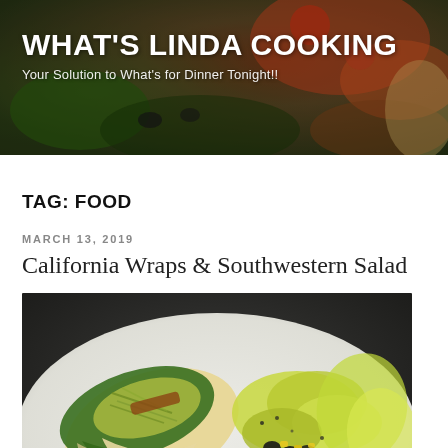WHAT'S LINDA COOKING
Your Solution to What's for Dinner Tonight!!
TAG: FOOD
MARCH 13, 2019
California Wraps & Southwestern Salad
[Figure (photo): Photo of California wraps with sprouts and greens on a white plate, served alongside a Southwestern salad with black beans, corn, and lettuce]